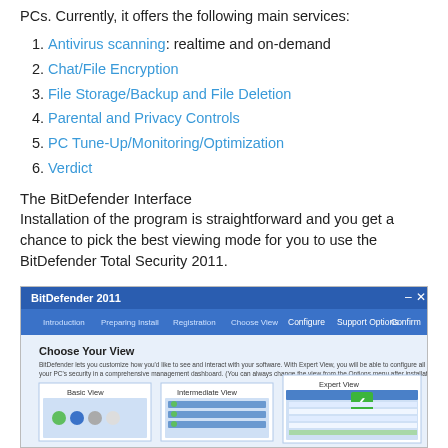PCs. Currently, it offers the following main services:
Antivirus scanning: realtime and on-demand
Chat/File Encryption
File Storage/Backup and File Deletion
Parental and Privacy Controls
PC Tune-Up/Monitoring/Optimization
Verdict
The BitDefender Interface
Installation of the program is straightforward and you get a chance to pick the best viewing mode for you to use the BitDefender Total Security 2011.
[Figure (screenshot): BitDefender 2011 installer screenshot showing 'Choose Your View' screen with Basic View, Intermediate View, and Expert View options.]